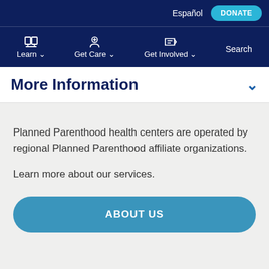Español  DONATE
Learn  Get Care  Get Involved  Search
More Information
Planned Parenthood health centers are operated by regional Planned Parenthood affiliate organizations.
Learn more about our services.
ABOUT US